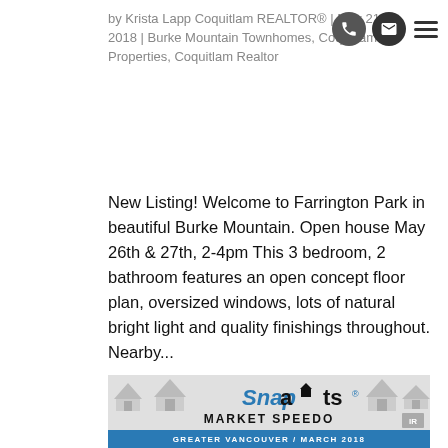by Krista Lapp Coquitlam REALTOR® | May 21, 2018 | Burke Mountain Townhomes, Coquitlam Properties, Coquitlam Realtor
New Listing! Welcome to Farrington Park in beautiful Burke Mountain. Open house May 26th & 27th, 2-4pm This 3 bedroom, 2 bathroom features an open concept floor plan, oversized windows, lots of natural bright light and quality finishings throughout. Nearby...
[Figure (infographic): SnapStats Market Speedo infographic banner showing house models arranged in a circle with the SnapStats logo, 'MARKET SPEEDO' text, and a blue banner reading 'GREATER VANCOUVER / MARCH 2018']